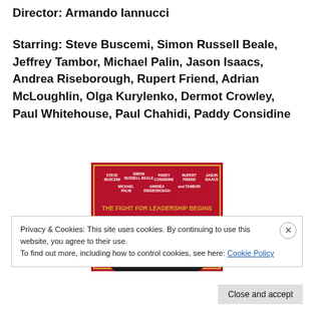Director: Armando Iannucci
Starring: Steve Buscemi, Simon Russell Beale, Jeffrey Tambor, Michael Palin, Jason Isaacs, Andrea Riseborough, Rupert Friend, Adrian McLoughlin, Olga Kurylenko, Dermot Crowley, Paul Whitehouse, Paul Chahidi, Paddy Considine
[Figure (illustration): Movie poster for The Death of Stalin on a red background. Text reads: THE FIGHT FOR LEADERSHIP BEGINS. A Film by ARMANDO IANNUCCI. Cast names at top: Steve Buscemi, Simon Russell Beale, Paddy Considine, Rupert Friend, Jason Isaacs, Michael Palin, Andrea Riseborough, and Tambor.]
Privacy & Cookies: This site uses cookies. By continuing to use this website, you agree to their use.
To find out more, including how to control cookies, see here: Cookie Policy
Close and accept